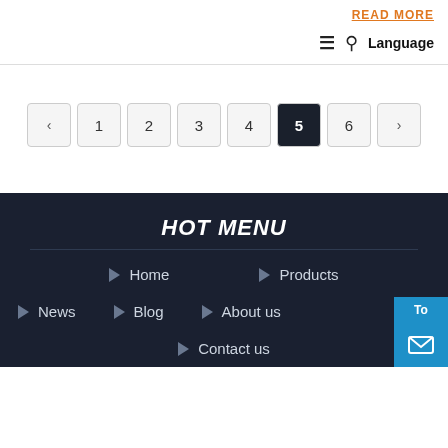READ MORE | Language
‹ 1 2 3 4 5 6 ›
HOT MENU
Home
Products
News
Blog
About us
Contact us